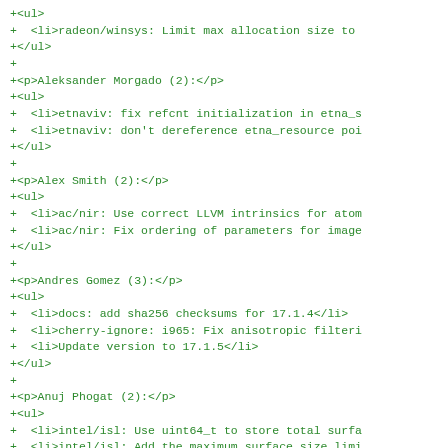+<ul>
+  <li>radeon/winsys: Limit max allocation size to
+</ul>
+
+<p>Aleksander Morgado (2):</p>
+<ul>
+  <li>etnaviv: fix refcnt initialization in etna_s
+  <li>etnaviv: don't dereference etna_resource poi
+</ul>
+
+<p>Alex Smith (2):</p>
+<ul>
+  <li>ac/nir: Use correct LLVM intrinsics for atom
+  <li>ac/nir: Fix ordering of parameters for image
+</ul>
+
+<p>Andres Gomez (3):</p>
+<ul>
+  <li>docs: add sha256 checksums for 17.1.4</li>
+  <li>cherry-ignore: i965: Fix anisotropic filteri
+  <li>Update version to 17.1.5</li>
+</ul>
+
+<p>Anuj Phogat (2):</p>
+<ul>
+  <li>intel/isl: Use uint64_t to store total surfa
+  <li>intel/isl: Add the maximum surface size limi
+</ul>
+
+<p>Brian Paul (3):</p>